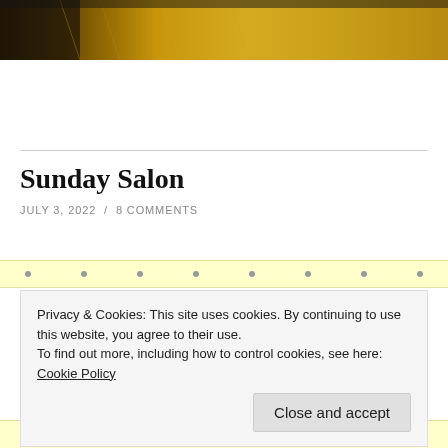[Figure (photo): Partial photo showing dark objects and a wooden surface with golden/yellow tones, cropped at top of page]
Sunday Salon
JULY 3, 2022 / 8 COMMENTS
Privacy & Cookies: This site uses cookies. By continuing to use this website, you agree to their use. To find out more, including how to control cookies, see here: Cookie Policy
Close and accept